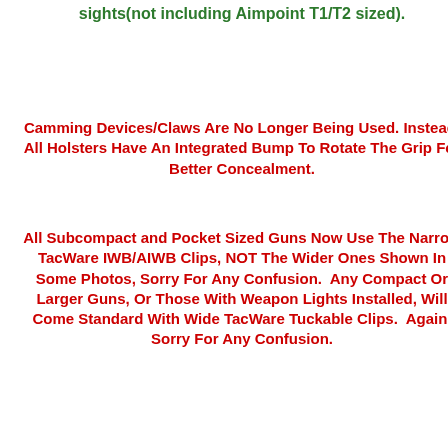sights(not including Aimpoint T1/T2 sized).
Camming Devices/Claws Are No Longer Being Used. Instead, All Holsters Have An Integrated Bump To Rotate The Grip For Better Concealment.
All Subcompact and Pocket Sized Guns Now Use The Narrow TacWare IWB/AIWB Clips, NOT The Wider Ones Shown In Some Photos, Sorry For Any Confusion.  Any Compact Or Larger Guns, Or Those With Weapon Lights Installed, Will Come Standard With Wide TacWare Tuckable Clips.  Again, Sorry For Any Confusion.